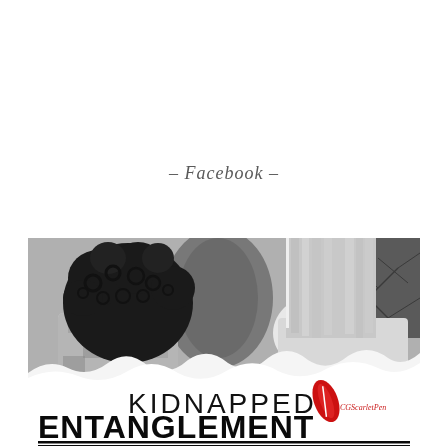– Facebook –
[Figure (illustration): Book cover for 'Kidnapped Entanglement' showing two people from behind — one with curly dark hair in camouflage, one with straight light hair — against a black and white outdoor background. Below the photo is bold text reading 'KIDNAPPED ENTANGLEMENT' with a red feather quill logo and 'CGScarletPen' branding, and subtitle text 'A KIDNAPPING IN BROAD DAYLIGHT. A DARING']